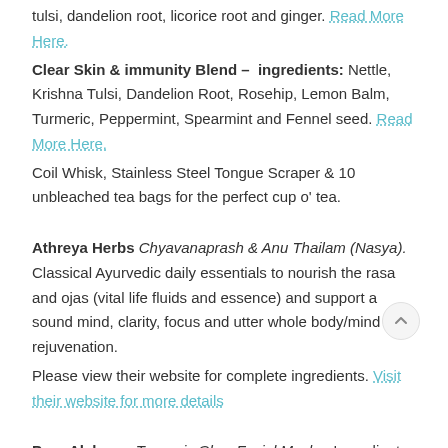tulsi, dandelion root, licorice root and ginger. Read More Here.
Clear Skin & immunity Blend – ingredients: Nettle, Krishna Tulsi, Dandelion Root, Rosehip, Lemon Balm, Turmeric, Peppermint, Spearmint and Fennel seed. Read More Here.
Coil Whisk, Stainless Steel Tongue Scraper & 10 unbleached tea bags for the perfect cup o' tea.
Athreya Herbs Chyavanaprash & Anu Thailam (Nasya). Classical Ayurvedic daily essentials to nourish the rasa and ojas (vital life fluids and essence) and support a sound mind, clarity, focus and utter whole body/mind rejuvenation.
Please view their website for complete ingredients. Visit their website for more details
Pure Alchemy Turmeric Glow Facial Mask ~ Ingredients: Garbanzo Bean Flour (Cicer Arietinum Flour)*, Yellow Kaolin Clay, Fullers Earth Clay (Multani Mitti), Turmeric (Curcuma Longa)*, Amalaki (Emblica Officinalis)*, Neem (Azadirachta Indica)*, Licorice Bark (Glycyrrhiza Glabra)*, Indian Sandalwood (Santalum Album)+, Hyaluronic Acid